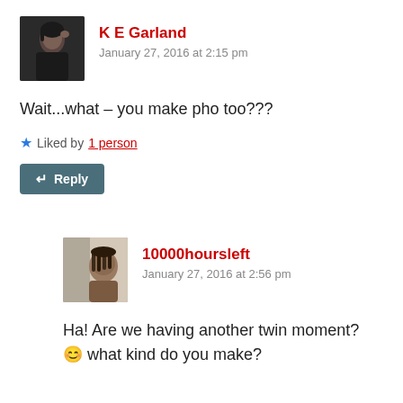[Figure (photo): Avatar photo of K E Garland — person in dark clothing with hand raised]
K E Garland
January 27, 2016 at 2:15 pm
Wait...what – you make pho too???
Liked by 1 person
Reply
[Figure (photo): Avatar photo of 10000hoursleft — person with braided hair]
10000hoursleft
January 27, 2016 at 2:56 pm
Ha! Are we having another twin moment? 😊 what kind do you make?